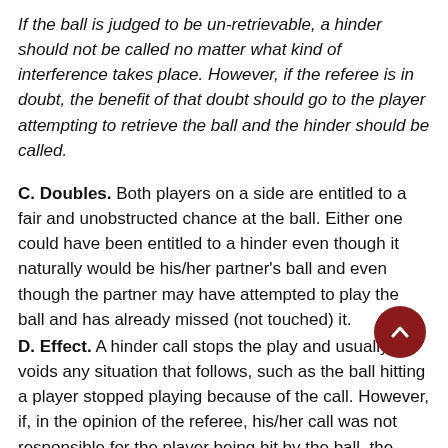If the ball is judged to be un-retrievable, a hinder should not be called no matter what kind of interference takes place. However, if the referee is in doubt, the benefit of that doubt should go to the player attempting to retrieve the ball and the hinder should be called.
C. Doubles. Both players on a side are entitled to a fair and unobstructed chance at the ball. Either one could have been entitled to a hinder even though it naturally would be his/her partner's ball and even though the partner may have attempted to play the ball and has already missed (not touched) it.
D. Effect. A hinder call stops the play and usually voids any situation that follows, such as the ball hitting a player stopped playing because of the call. However, if, in the opinion of the referee, his/her call was not responsible for the player being hit by the ball, the referee may overrule the hinder call and declares either a point or sideout. The only